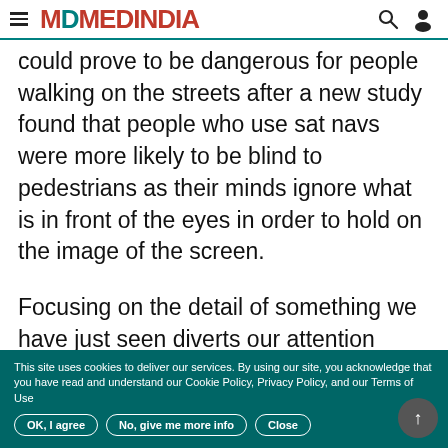MEDINDIA
could prove to be dangerous for people walking on the streets after a new study found that people who use sat navs were more likely to be blind to pedestrians as their minds ignore what is in front of the eyes in order to hold on the image of the screen.
Focusing on the detail of something we have just seen diverts our attention away
This site uses cookies to deliver our services. By using our site, you acknowledge that you have read and understand our Cookie Policy, Privacy Policy, and our Terms of Use